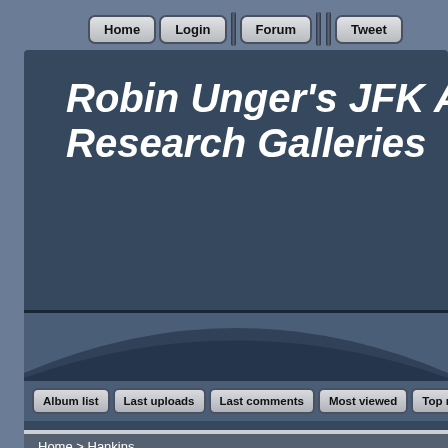Home | Login | Forum | Tweet
Robin Unger's JFK Assassination Research Galleries
[Figure (illustration): Decorative arch/wave graphic element on dark blue background]
Album list | Last uploads | Last comments | Most viewed | Top rated
Home > Hankins
Hankins